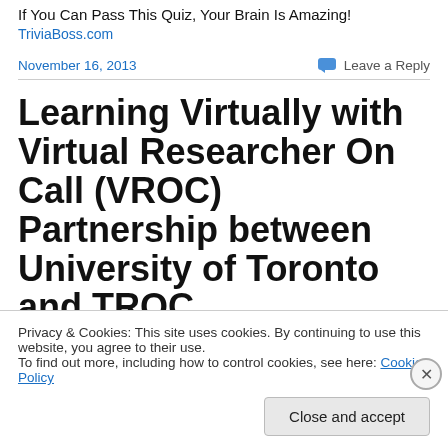If You Can Pass This Quiz, Your Brain Is Amazing!
TriviaBoss.com
November 16, 2013
Leave a Reply
Learning Virtually with Virtual Researcher On Call (VROC) Partnership between University of Toronto and TROC
Privacy & Cookies: This site uses cookies. By continuing to use this website, you agree to their use.
To find out more, including how to control cookies, see here: Cookie Policy
Close and accept